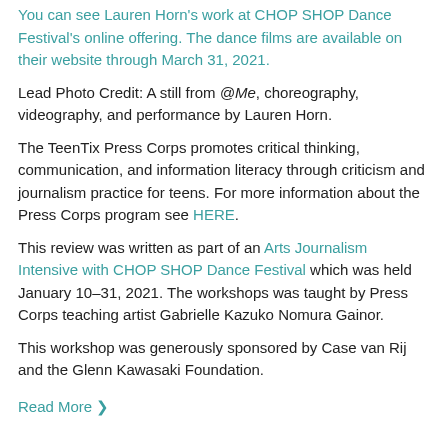You can see Lauren Horn's work at CHOP SHOP Dance Festival's online offering. The dance films are available on their website through March 31, 2021.
Lead Photo Credit: A still from @Me, choreography, videography, and performance by Lauren Horn.
The TeenTix Press Corps promotes critical thinking, communication, and information literacy through criticism and journalism practice for teens. For more information about the Press Corps program see HERE.
This review was written as part of an Arts Journalism Intensive with CHOP SHOP Dance Festival which was held January 10–31, 2021. The workshops was taught by Press Corps teaching artist Gabrielle Kazuko Nomura Gainor.
This workshop was generously sponsored by Case van Rij and the Glenn Kawasaki Foundation.
Read More ›